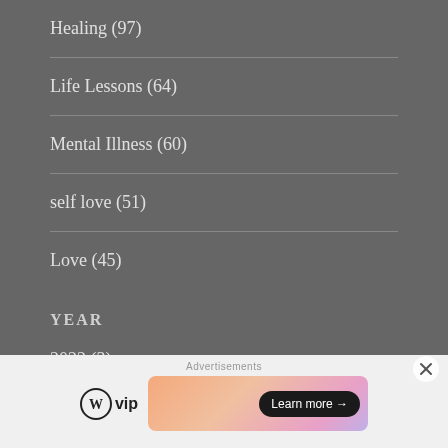Healing (97)
Life Lessons (64)
Mental Illness (60)
self love (51)
Love (45)
YEAR
2022 (3)
[Figure (other): WordPress VIP advertisement banner with 'Learn more' button and gradient background]
Advertisements